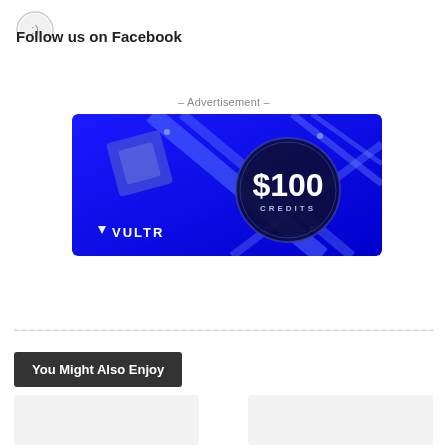[Figure (logo): Circular icon/avatar partially visible at top left]
Follow us on Facebook
– Advertisement –
[Figure (illustration): Vultr advertisement banner showing $100 Credits offer on a blue abstract background with geometric shapes. Shows Vultr logo and branding.]
[Figure (other): Dotted/dashed horizontal divider line]
You Might Also Enjoy
[Figure (other): Two placeholder card thumbnails at bottom]